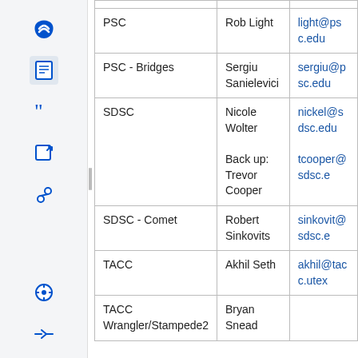| Organization | Contact | Email |
| --- | --- | --- |
| PSC | Rob Light | light@psc.edu |
| PSC - Bridges | Sergiu Sanielevici | sergiu@psc.edu |
| SDSC | Nicole Wolter

Back up: Trevor Cooper | nickel@sdsc.edu
tcooper@sdsc.e |
| SDSC - Comet | Robert Sinkovits | sinkovit@sdsc.e |
| TACC | Akhil Seth | akhil@tacc.utex |
| TACC Wrangler/Stampede2 | Bryan Snead |  |